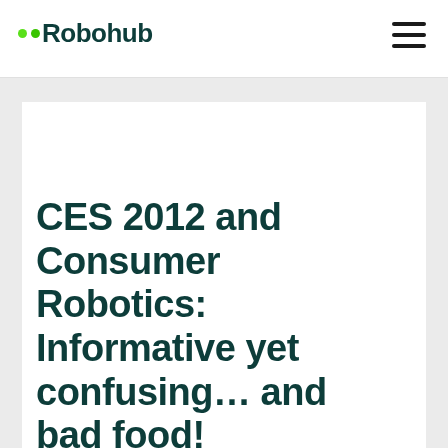Robohub
CES 2012 and Consumer Robotics: Informative yet confusing… and bad food!